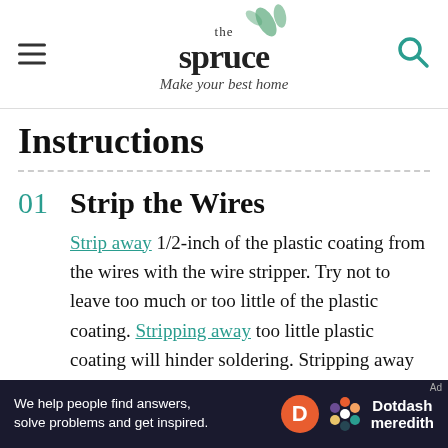the spruce — Make your best home
Instructions
01  Strip the Wires
Strip away 1/2-inch of the plastic coating from the wires with the wire stripper. Try not to leave too much or too little of the plastic coating. Stripping away too little plastic coating will hinder soldering. Stripping away too much plastic coating will expose an excessive amount of copper wire and require you to use more heat
Ad — We help people find answers, solve problems and get inspired. Dotdash meredith